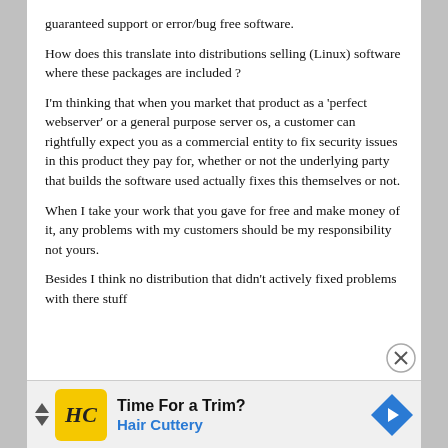guaranteed support or error/bug free software.
How does this translate into distributions selling (Linux) software where these packages are included ?
I'm thinking that when you market that product as a 'perfect webserver' or a general purpose server os, a customer can rightfully expect you as a commercial entity to fix security issues in this product they pay for, whether or not the underlying party that builds the software used actually fixes this themselves or not.
When I take your work that you gave for free and make money of it, any problems with my customers should be my responsibility not yours.
Besides I think no distribution that didn't actively fixed problems with there stuff
[Figure (infographic): Advertisement banner for Hair Cuttery with yellow HC logo, 'Time For a Trim?' headline, Hair Cuttery subtitle in blue, navigation arrows, and a blue diamond-shaped map pin icon.]